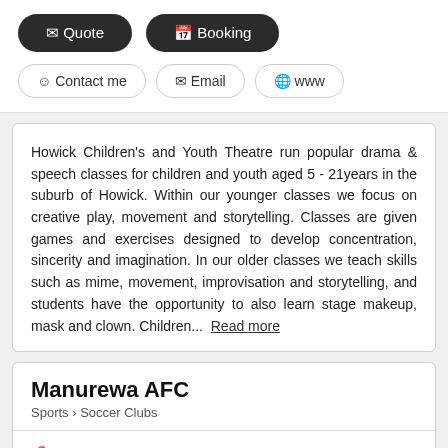Quote
Booking
Contact me
Email
www
Howick Children's and Youth Theatre run popular drama & speech classes for children and youth aged 5 - 21years in the suburb of Howick. Within our younger classes we focus on creative play, movement and storytelling. Classes are given games and exercises designed to develop concentration, sincerity and imagination. In our older classes we teach skills such as mime, movement, improvisation and storytelling, and students have the opportunity to also learn stage makeup, mask and clown. Children... Read more
Manurewa AFC
Sports > Soccer Clubs
16 Gibbs Road, Manurewa (2102), Auckland Region